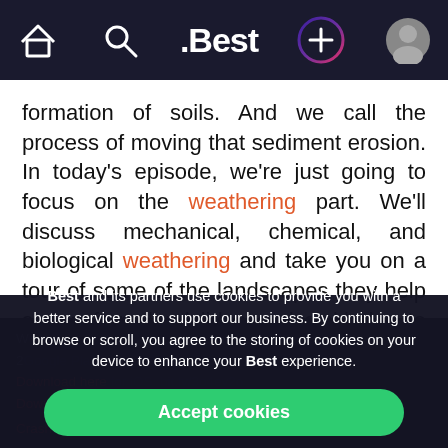[Figure (screenshot): Mobile app navigation bar with dark background showing home icon, search icon, .Best logo in center, a circular gradient plus icon, and a user profile photo]
formation of soils. And we call the process of moving that sediment erosion. In today's episode, we're just going to focus on the weathering part. We'll discuss mechanical, chemical, and biological weathering and take you on a tour of some of the landscapes they help shape from landslides and sinkholes to caves!
Best and its partners use cookies to provide you with a better service and to support our business. By continuing to browse or scroll, you agree to the storing of cookies on your device to enhance your Best experience.
Accept cookies
Only essentials
Learn more about our privacy policy.